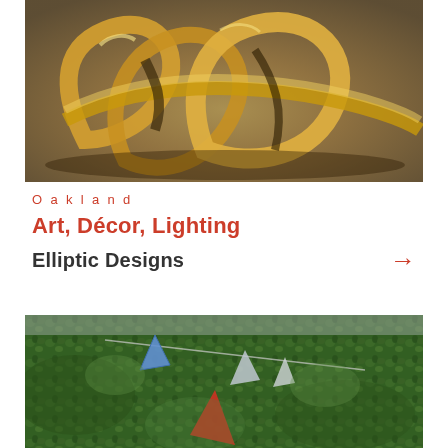[Figure (photo): Gold metallic sculptural ribbon/knot art piece on a gray surface, photographed close-up showing intertwined curved strips with golden finish]
Oakland
Art, Décor, Lighting
Elliptic Designs
[Figure (photo): Colorful triangular fabric flags (blue, red, gray/white) hanging in front of a lush green hedge/plant wall, with natural outdoor setting]